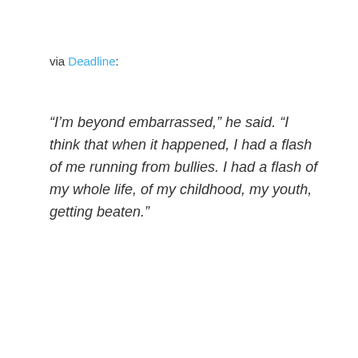via Deadline:
“I’m beyond embarrassed,” he said. “I think that when it happened, I had a flash of me running from bullies. I had a flash of my whole life, of my childhood, my youth, getting beaten.”